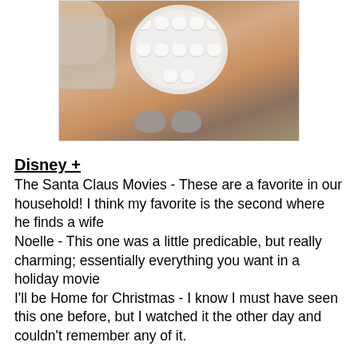[Figure (photo): A person holding a white bowl/mug of hot chocolate topped with mini marshmallows, viewed from above, with fuzzy grey slippers visible on a wooden floor.]
Disney +
The Santa Claus Movies - These are a favorite in our household! I think my favorite is the second where he finds a wife
Noelle - This one was a little predicable, but really charming; essentially everything you want in a holiday movie
I'll be Home for Christmas - I know I must have seen this one before, but I watched it the other day and couldn't remember any of it.
Netflix